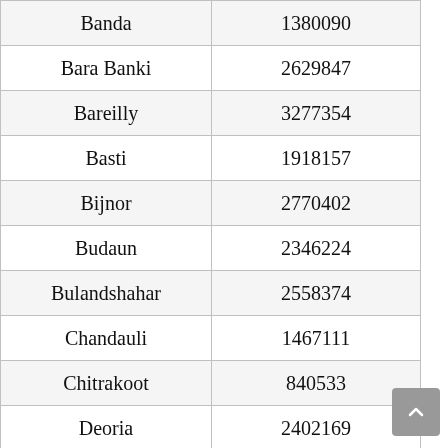| District | Population |
| --- | --- |
| Banda | 1380090 |
| Bara Banki | 2629847 |
| Bareilly | 3277354 |
| Basti | 1918157 |
| Bijnor | 2770402 |
| Budaun | 2346224 |
| Bulandshahar | 2558374 |
| Chandauli | 1467111 |
| Chitrakoot | 840533 |
| Deoria | 2402169 |